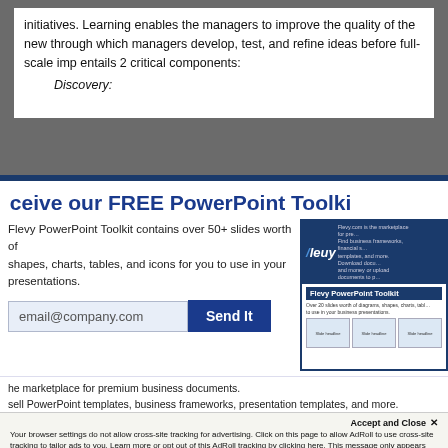initiatives.  Learning enables the managers to improve the quality of the new through which managers develop, test, and refine ideas before full-scale imp entails 2 critical components:
Discovery:
Receive our FREE PowerPoint Toolkit
Flevy PowerPoint Toolkit contains over 50+ slides worth of shapes, charts, tables, and icons for you to use in your presentations.
email@company.com
Send It
[Figure (screenshot): Screenshot of Flevy PowerPoint Toolkit preview showing logo, description, and slide thumbnails]
Flevy.com is the marketplace for premium business documents. Buy and sell PowerPoint templates, business frameworks, presentation templates, and more.
Accept and Close ✕
Your browser settings do not allow cross-site tracking for advertising. Click on this page to allow AdRoll to use cross-site tracking to tailor ads to you. Learn more or opt out of this AdRoll tracking by clicking here. This message only appears once.